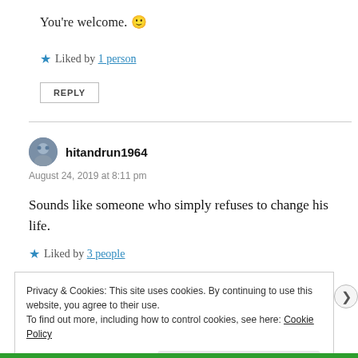You're welcome. 🙂
★ Liked by 1 person
REPLY
hitandrun1964
August 24, 2019 at 8:11 pm
Sounds like someone who simply refuses to change his life.
★ Liked by 3 people
Privacy & Cookies: This site uses cookies. By continuing to use this website, you agree to their use.
To find out more, including how to control cookies, see here: Cookie Policy
Close and accept